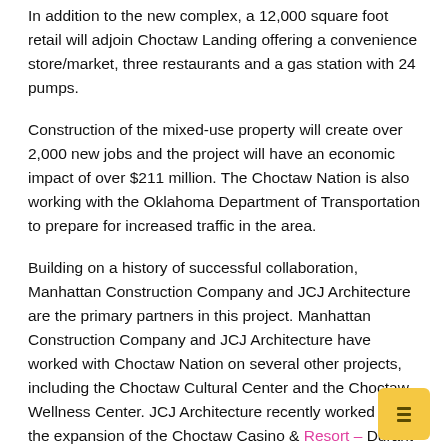In addition to the new complex, a 12,000 square foot retail will adjoin Choctaw Landing offering a convenience store/market, three restaurants and a gas station with 24 pumps.
Construction of the mixed-use property will create over 2,000 new jobs and the project will have an economic impact of over $211 million. The Choctaw Nation is also working with the Oklahoma Department of Transportation to prepare for increased traffic in the area.
Building on a history of successful collaboration, Manhattan Construction Company and JCJ Architecture are the primary partners in this project. Manhattan Construction Company and JCJ Architecture have worked with Choctaw Nation on several other projects, including the Choctaw Cultural Center and the Choctaw Wellness Center. JCJ Architecture recently worked on the expansion of the Choctaw Casino & Resort – Durant and ongoing improvements to the property.
Choctaw Landing will open in late 2023.